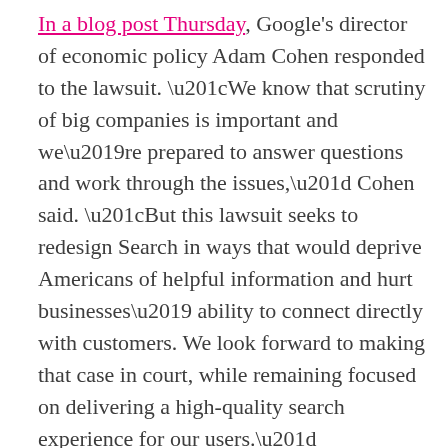In a blog post Thursday, Google's director of economic policy Adam Cohen responded to the lawsuit. “We know that scrutiny of big companies is important and we’re prepared to answer questions and work through the issues,” Cohen said. “But this lawsuit seeks to redesign Search in ways that would deprive Americans of helpful information and hurt businesses’ ability to connect directly with customers. We look forward to making that case in court, while remaining focused on delivering a high-quality search experience for our users.”
The states’ lawsuit specifically takes aim at Google’s market power and ability to push specific sites and services out of its search results. “Google